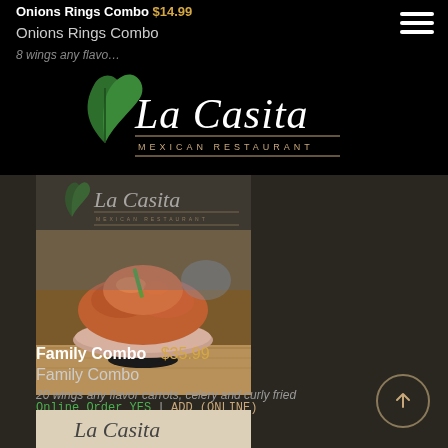Onions Rings Combo $14.99
Onions Rings Combo
8 wings any flavor
[Figure (logo): La Casita Mexican Restaurant logo with green leaf/plant graphic and script text]
[Figure (photo): Food photo showing a bowl of chicken wings piled high on a pedestal dish on a wooden table]
Online Order YES | ADD (ONLINE)
Family Combo $35.99
Family Combo
20 wings any flavor carrots, celery and curly fried
[Figure (logo): La Casita logo partially visible at bottom of page]